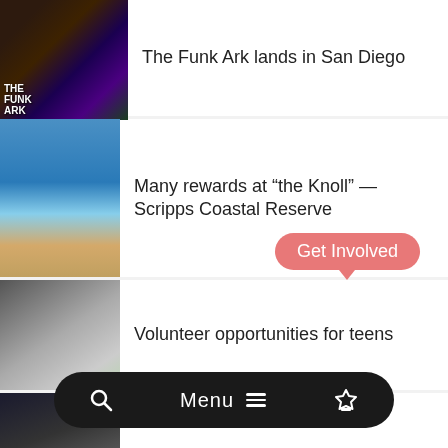The Funk Ark lands in San Diego
Many rewards at “the Knoll” — Scripps Coastal Reserve
Volunteer opportunities for teens
Concert photos for the wasteland known as your phone
Joy sounds insane
The takeout junkie trap
Merry Fishmas, Eastern Sierra anglers